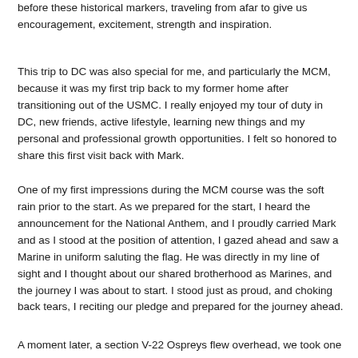before these historical markers, traveling from afar to give us encouragement, excitement, strength and inspiration.
This trip to DC was also special for me, and particularly the MCM, because it was my first trip back to my former home after transitioning out of the USMC. I really enjoyed my tour of duty in DC, new friends, active lifestyle, learning new things and my personal and professional growth opportunities. I felt so honored to share this first visit back with Mark.
One of my first impressions during the MCM course was the soft rain prior to the start. As we prepared for the start, I heard the announcement for the National Anthem, and I proudly carried Mark and as I stood at the position of attention, I gazed ahead and saw a Marine in uniform saluting the flag. He was directly in my line of sight and I thought about our shared brotherhood as Marines, and the journey I was about to start. I stood just as proud, and choking back tears, I reciting our pledge and prepared for the journey ahead.
A moment later, a section V-22 Ospreys flew overhead, we took one